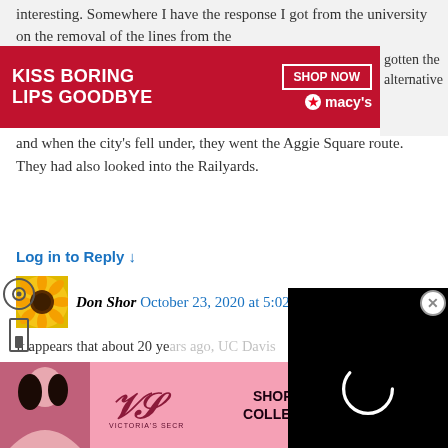interesting. Somewhere I have the response I got from the university on the removal of the lines from the
[Figure (screenshot): Advertisement banner: red background with white text 'KISS BORING LIPS GOODBYE', 'SHOP NOW' button, and Macy's star logo]
gotten the ... alternative and when the city's fell under, they went the Aggie Square route. They had also looked into the Railyards.
Log in to Reply ↓
[Figure (photo): Avatar image of a sunflower]
Don Shor October 23, 2020 at 5:02 pm
It appears that about 20 years ago, UC Davis sought a research park designation in their Land Use Plan, Yolo/Solano County, south side of campus. About 10 years ago they announced it would not be pursuing it through a county process, and moved to pursue it through the city. A research/innovation park plan was in some stage, with a take on it when Bob Segar announced they were no longer considering the Solano County location. https://www.davisvanguard.org/2015/10/uc-davis-based-
[Figure (screenshot): Black video player overlay with spinning loading circle]
[Figure (screenshot): Bottom advertisement: Victoria's Secret pink banner with 'SHOP THE COLLECTION' and 'SHOP NOW' button]